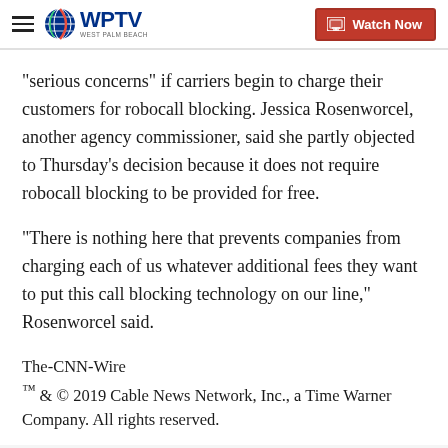WPTV West Palm Beach — Watch Now
"serious concerns" if carriers begin to charge their customers for robocall blocking. Jessica Rosenworcel, another agency commissioner, said she partly objected to Thursday's decision because it does not require robocall blocking to be provided for free.
"There is nothing here that prevents companies from charging each of us whatever additional fees they want to put this call blocking technology on our line," Rosenworcel said.
The-CNN-Wire
™ & © 2019 Cable News Network, Inc., a Time Warner Company. All rights reserved.